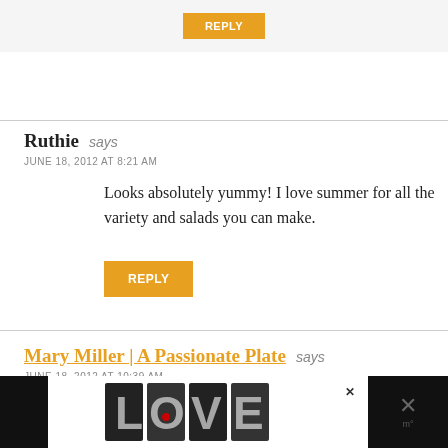[Figure (other): Orange REPLY button on light gray background at top of page]
Ruthie says
JUNE 18, 2012 AT 8:21 AM
Looks absolutely yummy! I love summer for all the variety and salads you can make.
[Figure (other): Orange REPLY button]
Mary Miller | A Passionate Plate says
JUNE 18, 2012 AT 10:39 AM
Definitely peaches! Your salads look beautiful –
[Figure (other): Advertisement banner with LOVE text art on dark background at bottom of page]